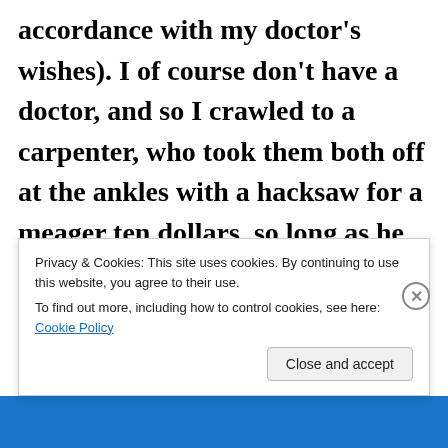accordance with my doctor's wishes). I of course don't have a doctor, and so I crawled to a carpenter, who took them both off at the ankles with a hacksaw for a meager ten dollars, so long as he could keep the size elevens as souvenirs. I believe he said he was looking for
Privacy & Cookies: This site uses cookies. By continuing to use this website, you agree to their use.
To find out more, including how to control cookies, see here: Cookie Policy